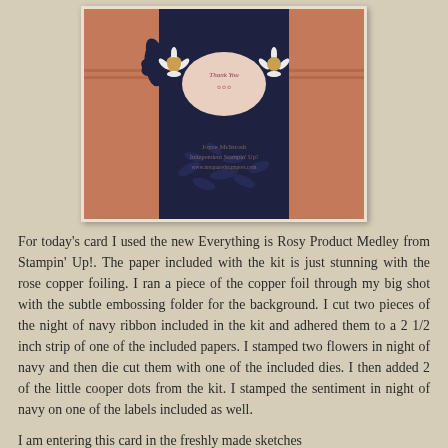[Figure (photo): Photo of a handmade card featuring the Everything is Rosy Product Medley from Stampin Up. The card has a rose copper foil background with a dark navy panel, two large navy flowers with white daisy centers, a round label with 'Thank You' sentiment, and leaf/floral patterned paper. Watermark reads 'Joyce McIntosh Independent Stampin Up! www.nrsquaredstampers.com']
For today's card I used the new Everything is Rosy Product Medley from Stampin' Up!. The paper included with the kit is just stunning with the rose copper foiling. I ran a piece of the copper foil through my big shot with the subtle embossing folder for the background. I cut two pieces of the night of navy ribbon included in the kit and adhered them to a 2 1/2 inch strip of one of the included papers. I stamped two flowers in night of navy and then die cut them with one of the included dies. I then added 2 of the little cooper dots from the kit. I stamped the sentiment in night of navy on one of the labels included as well.
I am entering this card in the freshly made sketches